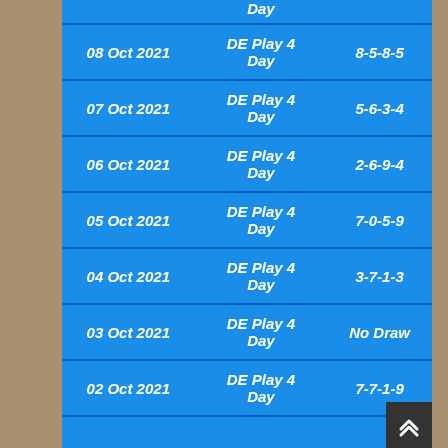| Date | Game | Result |
| --- | --- | --- |
| 08 Oct 2021 | DE Play 4 Day | 8-5-8-5 |
| 07 Oct 2021 | DE Play 4 Day | 5-6-3-4 |
| 06 Oct 2021 | DE Play 4 Day | 2-6-9-4 |
| 05 Oct 2021 | DE Play 4 Day | 7-0-5-9 |
| 04 Oct 2021 | DE Play 4 Day | 3-7-1-3 |
| 03 Oct 2021 | DE Play 4 Day | No Draw |
| 02 Oct 2021 | DE Play 4 Day | 7-7-1-9 |